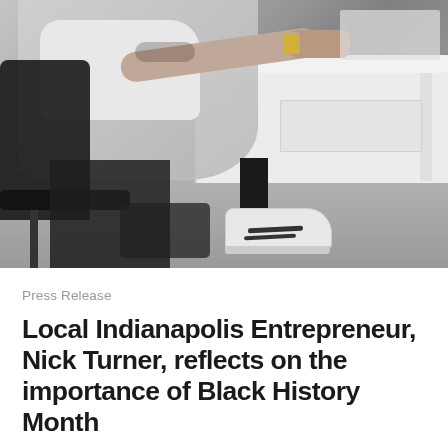[Figure (photo): A person leaning over a white desk working on a computer, viewed from behind/side, wearing a white t-shirt. A black office chair is visible on the left. Under the desk, a leg wearing white Adidas sneakers with black stripes is visible. The scene is in a modern office with gray carpeted floor.]
Press Release
Local Indianapolis Entrepreneur, Nick Turner, reflects on the importance of Black History Month